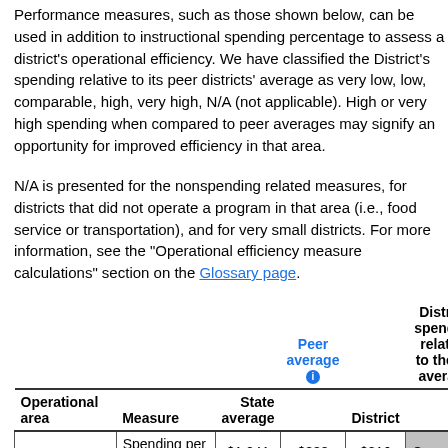Performance measures, such as those shown below, can be used in addition to instructional spending percentage to assess a district's operational efficiency. We have classified the District's spending relative to its peer districts' average as very low, low, comparable, high, very high, N/A (not applicable). High or very high spending when compared to peer averages may signify an opportunity for improved efficiency in that area.
N/A is presented for the nonspending related measures, for districts that did not operate a program in that area (i.e., food service or transportation), and for very small districts. For more information, see the "Operational efficiency measure calculations" section on the Glossary page.
| Operational area | Measure | State average | Peer average | District | District spending relative to the peer average |
| --- | --- | --- | --- | --- | --- |
| Administration | Spending per pupil | $1,041 | $838 | $816 | Comparable |
| Administration | Students per administrative position | 63 | 73 | 60 | N/A |